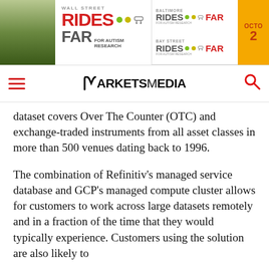[Figure (illustration): Banner advertisement for Wall Street Rides FAR for Autism Research, Baltimore Rides FAR, Bay Street Rides FAR, with October date partially visible]
MARKETS MEDIA
dataset covers Over The Counter (OTC) and exchange-traded instruments from all asset classes in more than 500 venues dating back to 1996.
The combination of Refinitiv’s managed service database and GCP’s managed compute cluster allows for customers to work across large datasets remotely and in a fraction of the time that they would typically experience. Customers using the solution are also likely to